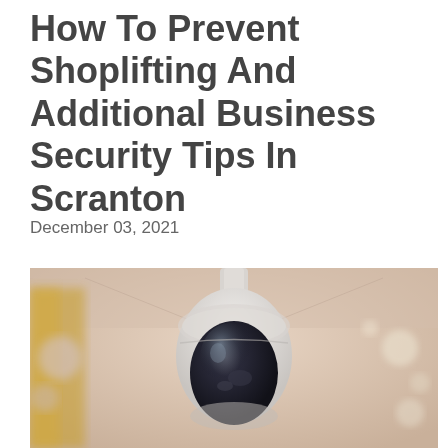How To Prevent Shoplifting And Additional Business Security Tips In Scranton
December 03, 2021
[Figure (photo): A dome security camera hanging from a ceiling, viewed from below, with a blurred mall or commercial corridor in the background featuring bokeh lights and yellow/orange storefronts.]